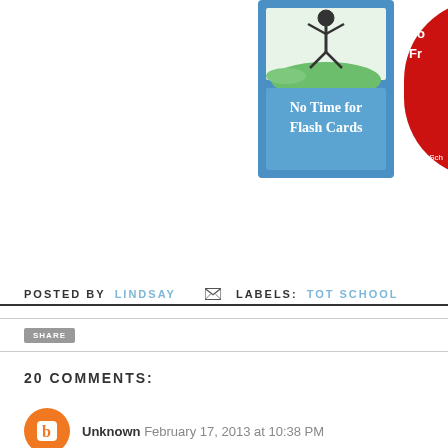[Figure (photo): Banner/badge image for 'No Time for Flash Cards' blog, showing a child figure jumping over a green hill on a blue background with text 'No Time for Flash Cards']
[Figure (photo): Partially visible red circular image with text 'for Fr...' and 'at SunSch...' at bottom - partially cropped on right edge]
POSTED BY LINDSAY  ✉  LABELS: TOT SCHOOL
20 COMMENTS:
Unknown  February 17, 2013 at 10:38 PM